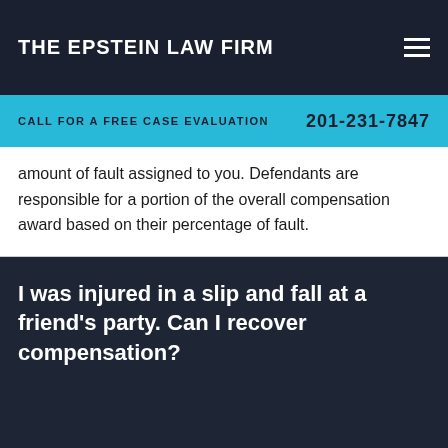THE EPSTEIN LAW FIRM
CALL FOR A FREE CASE EVALUATION    201-231-7847
amount of fault assigned to you. Defendants are responsible for a portion of the overall compensation award based on their percentage of fault.
I was injured in a slip and fall at a friend's party.  Can I recover compensation?